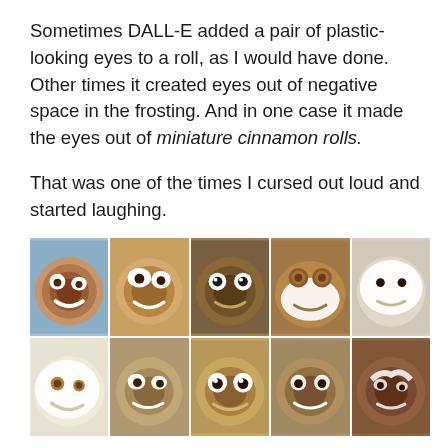Sometimes DALL-E added a pair of plastic-looking eyes to a roll, as I would have done. Other times it created eyes out of negative space in the frosting. And in one case it made the eyes out of miniature cinnamon rolls.

That was one of the times I cursed out loud and started laughing.
[Figure (photo): A 5x2 grid of AI-generated images showing cinnamon rolls decorated to look like faces, each with different eye styles — plastic googly eyes, frosting eyes, negative space eyes, and miniature cinnamon roll eyes.]